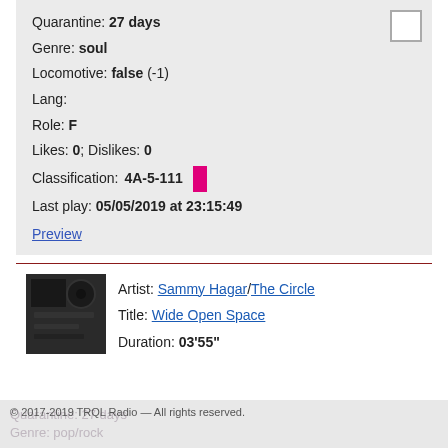Quarantine: 27 days
Genre: soul
Locomotive: false (-1)
Lang:
Role: F
Likes: 0; Dislikes: 0
Classification: 4A-5-111
Last play: 05/05/2019 at 23:15:49
Preview
Artist: Sammy Hagar/The Circle
Title: Wide Open Space
Duration: 03'55"
© 2017-2019 TRQL Radio — All rights reserved.